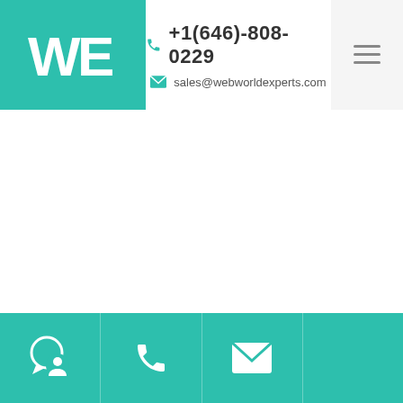[Figure (logo): Web World Experts logo — white WE letters on teal background square]
+1(646)-808-0229  sales@webworldexperts.com
[Figure (other): Hamburger menu icon (three horizontal lines) on light gray background]
Chat icon, Phone icon, Email icon — teal footer bar with contact icons